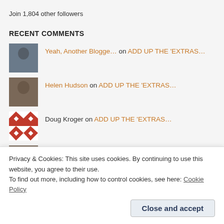Join 1,804 other followers
RECENT COMMENTS
Yeah, Another Blogge… on ADD UP THE 'EXTRAS…
Helen Hudson on ADD UP THE 'EXTRAS…
Doug Kroger on ADD UP THE 'EXTRAS…
Helen Hudson on ADD UP THE 'EXTRAS…
Privacy & Cookies: This site uses cookies. By continuing to use this website, you agree to their use.
To find out more, including how to control cookies, see here: Cookie Policy
Close and accept